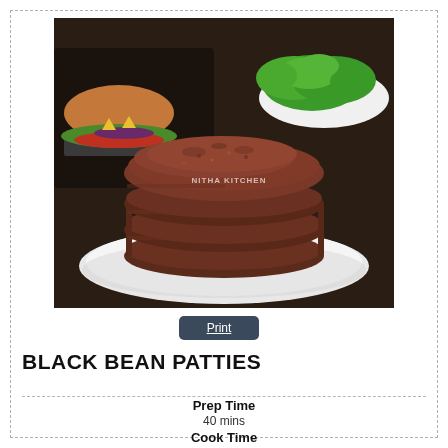[Figure (photo): Stack of four dark reddish-brown black bean patties on a white plate, with a burger and lettuce visible in the background. Watermark reads NITHA KITCHEN.]
Print
BLACK BEAN PATTIES
Prep Time
40 mins
Cook Time